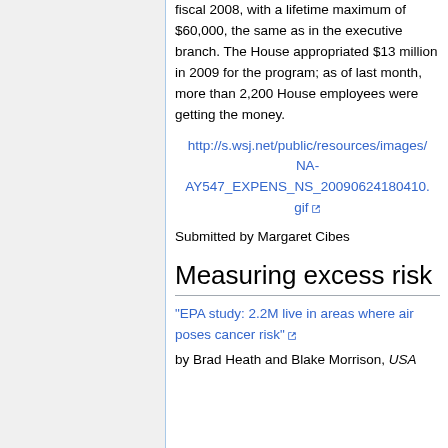fiscal 2008, with a lifetime maximum of $60,000, the same as in the executive branch. The House appropriated $13 million in 2009 for the program; as of last month, more than 2,200 House employees were getting the money.
http://s.wsj.net/public/resources/images/NA-AY547_EXPENS_NS_20090624180410.gif
Submitted by Margaret Cibes
Measuring excess risk
“EPA study: 2.2M live in areas where air poses cancer risk”
by Brad Heath and Blake Morrison, USA